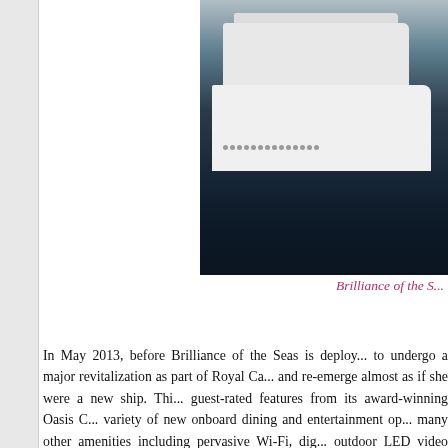[Figure (photo): Aerial or elevated view of a large white cruise ship (Brilliance of the Seas) sailing on dark water, showing the upper decks and hull from an angle]
Brilliance of the S...
In May 2013, before Brilliance of the Seas is deploy... to undergo a major revitalization as part of Royal Ca... and re-emerge almost as if she were a new ship. Thi... guest-rated features from its award-winning Oasis C... variety of new onboard dining and entertainment op... many other amenities including pervasive Wi-Fi, dig... outdoor LED video wall. Vacationers can choose fo... itineraries aboard Brilliance of the Seas, sailing rou... Cozumel, Mexico on the four-night, and George To... the five-night cruises. Aboard select five-night saili... instead of George Town. Vacationers also can selec...